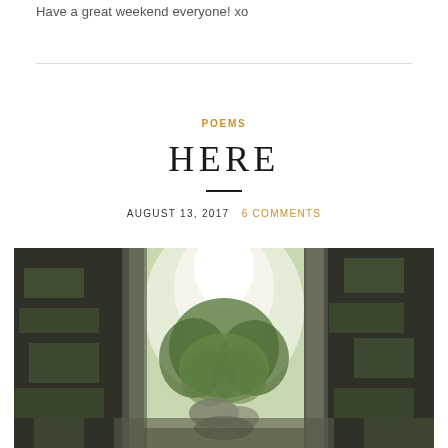Have a great weekend everyone! xo
POEMS
HERE
AUGUST 13, 2017   6 COMMENTS
[Figure (photo): View from inside a narrow rocky canyon or gorge, with moss-covered stone walls on either side and green trees visible in the bright background between the rocks.]